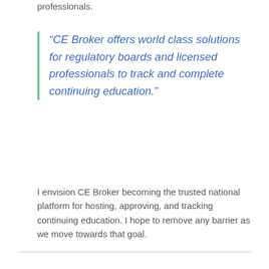professionals.
“CE Broker offers world class solutions for regulatory boards and licensed professionals to track and complete continuing education.”
I envision CE Broker becoming the trusted national platform for hosting, approving, and tracking continuing education. I hope to remove any barrier as we move towards that goal.